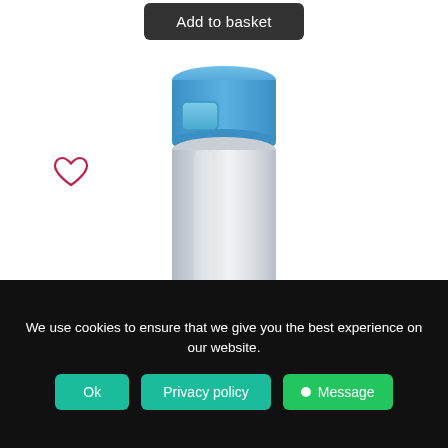[Figure (other): Dark rounded rectangle button labeled 'Add to basket' at top center of page]
[Figure (other): Heart/wishlist icon outline in pink/red, positioned top-left area]
[Figure (photo): Stainless steel thermos/travel mug with blue lid and blue push-button, shown from top down to lower portion of body]
We use cookies to ensure that we give you the best experience on our website.
[Figure (other): Cookie consent bar with Ok button, Privacy policy button, Message button, and X close button]